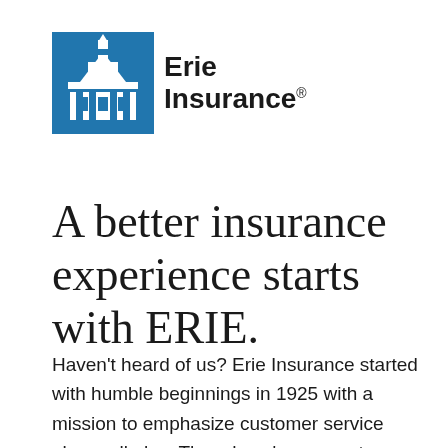[Figure (logo): Erie Insurance logo: blue square icon with a white building/capitol dome illustration, followed by bold text 'Erie Insurance' with registered trademark symbol]
A better insurance experience starts with ERIE.
Haven't heard of us? Erie Insurance started with humble beginnings in 1925 with a mission to emphasize customer service above all else. Though we've grown to reach the Fortune 500 list, we still haven't lost the human touch.